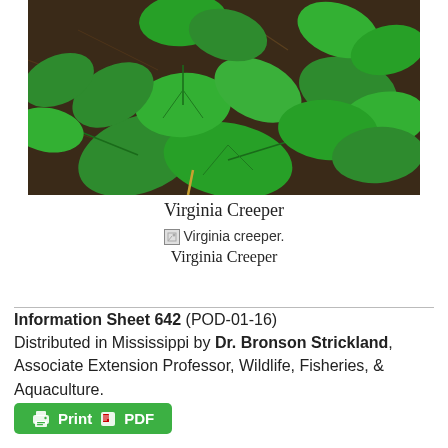[Figure (photo): Close-up photograph of Virginia Creeper plant with green palmate compound leaves on a ground covered with pine needles and dark soil.]
Virginia Creeper
[Figure (photo): Broken image placeholder labeled 'Virginia creeper.' with caption 'Virginia Creeper']
Virginia Creeper
Information Sheet 642 (POD-01-16) Distributed in Mississippi by Dr. Bronson Strickland, Associate Extension Professor, Wildlife, Fisheries, & Aquaculture.